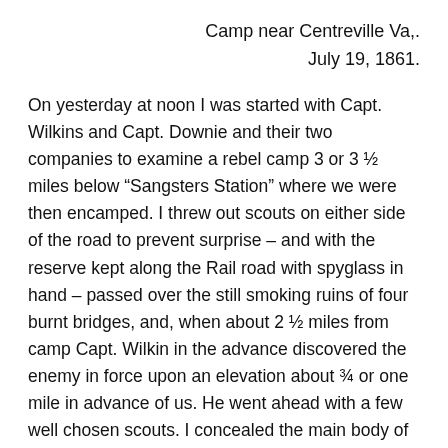Camp near Centreville Va,.
July 19, 1861.
On yesterday at noon I was started with Capt. Wilkins and Capt. Downie and their two companies to examine a rebel camp 3 or 3 ½ miles below “Sangsters Station” where we were then encamped. I threw out scouts on either side of the road to prevent surprise – and with the reserve kept along the Rail road with spyglass in hand – passed over the still smoking ruins of four burnt bridges, and, when about 2 ½ miles from camp Capt. Wilkin in the advance discovered the enemy in force upon an elevation about ¾ or one mile in advance of us. He went ahead with a few well chosen scouts. I concealed the main body of my men carefully, and then with the glass watched the foe for an hour. They appeared to have about the same number of men as myself, say 150 to 200. – but by watching carefully